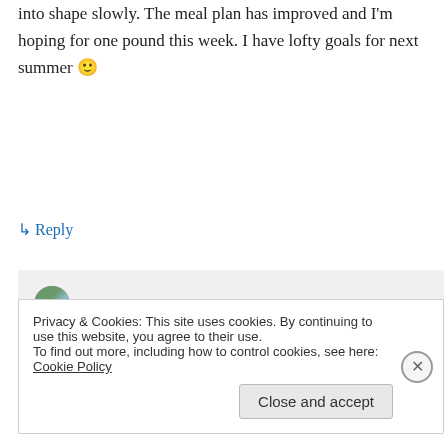into shape slowly. The meal plan has improved and I'm hoping for one pound this week. I have lofty goals for next summer 🙂
↳ Reply
hikingtohealthy on 10/14/2012 at 3:19 pm
Yay! That is awesome Ingrid!!! I love the state parks in Colorado, they are so beautiful. Good luck on the pounds!!!
Privacy & Cookies: This site uses cookies. By continuing to use this website, you agree to their use.
To find out more, including how to control cookies, see here: Cookie Policy
Close and accept